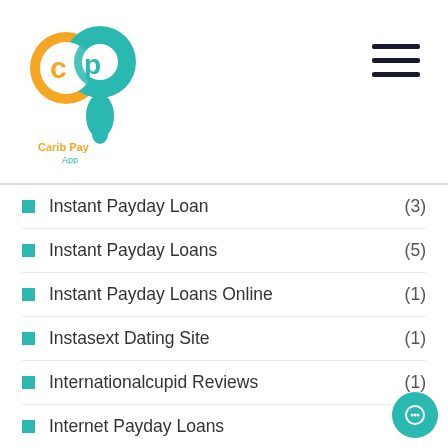[Figure (logo): Carib Pay App logo - orange and teal circular logo with 'cp' monogram and text 'Carib Pay App']
Instant Payday Loan (3)
Instant Payday Loans (5)
Instant Payday Loans Online (1)
Instasext Dating Site (1)
Internationalcupid Reviews (1)
Internet Payday Loans (2)
Interracial Dating (1)
Interracial Match Profile (1)
Interracial-Dating.Net Free-Dating-Online-Sites
Interracial-Dating.Net Online-Free-Dating (1)
InterracialPeopleMeet Dating A... (1)